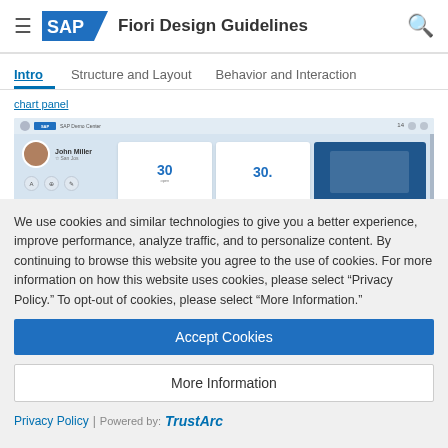SAP Fiori Design Guidelines
Intro | Structure and Layout | Behavior and Interaction
[Figure (screenshot): SAP Fiori UI screenshot showing a user profile page for John Miller with cards displaying numbers 30 and 30.5]
We use cookies and similar technologies to give you a better experience, improve performance, analyze traffic, and to personalize content. By continuing to browse this website you agree to the use of cookies. For more information on how this website uses cookies, please select “Privacy Policy.” To opt-out of cookies, please select “More Information.”
Accept Cookies
More Information
Privacy Policy | Powered by: TrustArc